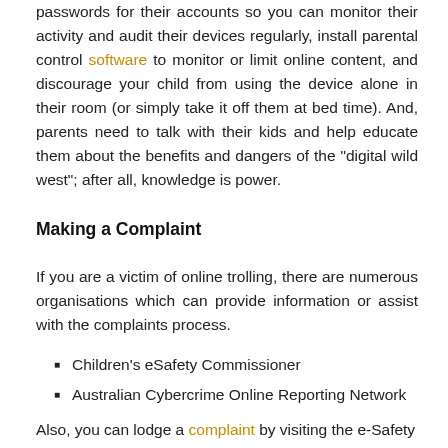passwords for their accounts so you can monitor their activity and audit their devices regularly, install parental control software to monitor or limit online content, and discourage your child from using the device alone in their room (or simply take it off them at bed time). And, parents need to talk with their kids and help educate them about the benefits and dangers of the "digital wild west"; after all, knowledge is power.
Making a Complaint
If you are a victim of online trolling, there are numerous organisations which can provide information or assist with the complaints process.
Children's eSafety Commissioner
Australian Cybercrime Online Reporting Network
Also, you can lodge a complaint by visiting the e-Safety